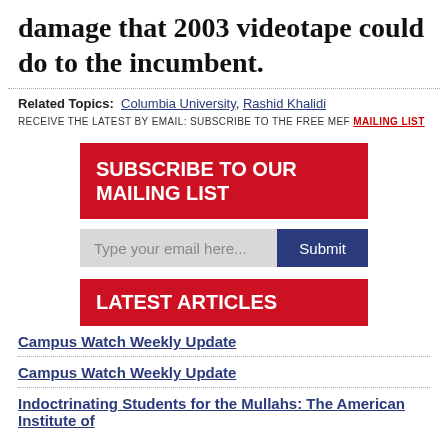damage that 2003 videotape could do to the incumbent.
Related Topics: Columbia University, Rashid Khalidi
RECEIVE THE LATEST BY EMAIL: SUBSCRIBE TO THE FREE MEF MAILING LIST
SUBSCRIBE TO OUR MAILING LIST
Type your email here...
LATEST ARTICLES
Campus Watch Weekly Update
Campus Watch Weekly Update
Indoctrinating Students for the Mullahs: The American Institute of